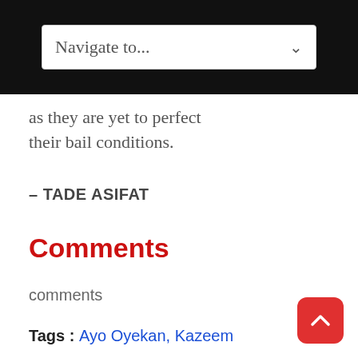Navigate to...
as they are yet to perfect their bail conditions.
– TADE ASIFAT
Comments
comments
Tags : Ayo Oyekan, Kazeem